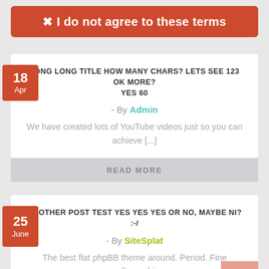✕ I do not agree to these terms
LONG LONG TITLE HOW MANY CHARS? LETS SEE 123 OK MORE? YES 60
- By Admin
We have created lots of YouTube videos just so you can achieve [...]
READ MORE
ANOTHER POST TEST YES YES YES OR NO, MAYBE NI? :-/
- By SiteSplat
The best flat phpBB theme around. Period. Fine craftmanship and [...]